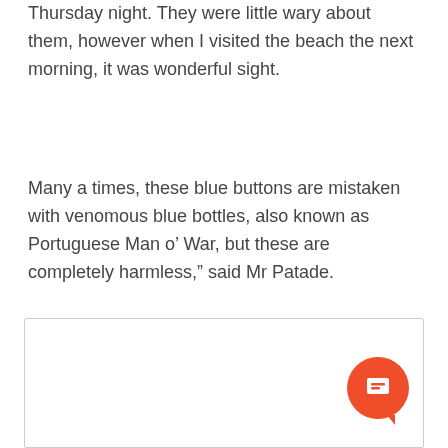Thursday night. They were little wary about them, however when I visited the beach the next morning, it was wonderful sight.
Many a times, these blue buttons are mistaken with venomous blue bottles, also known as Portuguese Man o’ War, but these are completely harmless,” said Mr Patade.
[Figure (other): A bordered white box area (comment/input area) with an orange circular chat button in the lower right corner]